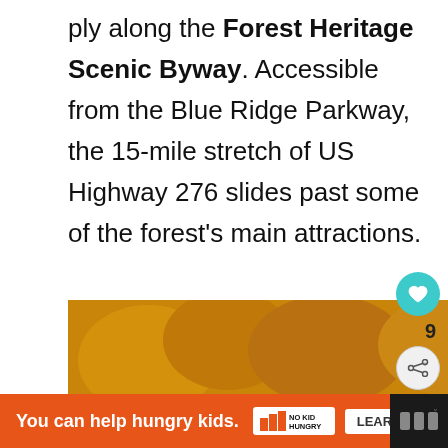ply along the Forest Heritage Scenic Byway. Accessible from the Blue Ridge Parkway, the 15-mile stretch of US Highway 276 slides past some of the forest's main attractions.
[Figure (photo): Waterfall surrounded by autumn foliage — orange, yellow, and green trees with rocky cliffs alongside the falls. Overlaid with UI elements: a teal heart button (9 saves), a share button, and a 'What's Next' card showing a thumbnail.]
You can help hungry kids. NO KID HUNGRY LEARN HOW